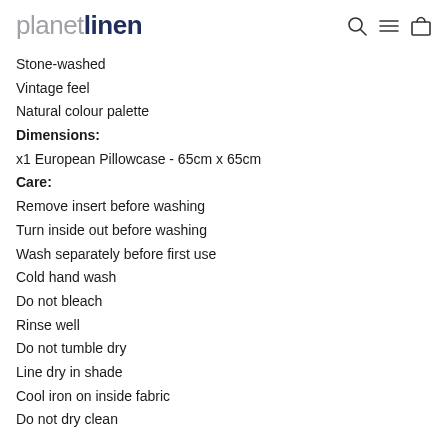planet linen
Stone-washed
Vintage feel
Natural colour palette
Dimensions:
x1 European Pillowcase - 65cm x 65cm
Care:
Remove insert before washing
Turn inside out before washing
Wash separately before first use
Cold hand wash
Do not bleach
Rinse well
Do not tumble dry
Line dry in shade
Cool iron on inside fabric
Do not dry clean